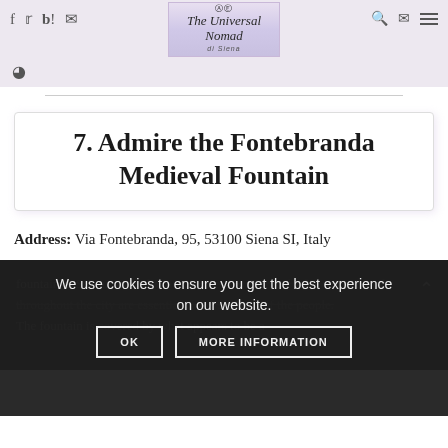The Universal Nomad — di Siena
7. Admire the Fontebranda Medieval Fountain
Address: Via Fontebranda, 95, 53100 Siena SI, Italy
We use cookies to ensure you get the best experience on our website.
fountain in Siena. ...atural water source near Siena, the fountains found throughout the city are essential to the survival of the people. The fountain is covered by what appears to be a